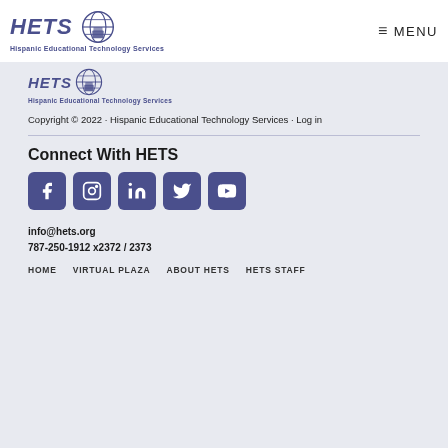[Figure (logo): HETS logo with globe icon and text 'Hispanic Educational Technology Services' in the top header bar]
≡ MENU
[Figure (logo): HETS logo repeated in body with globe icon and text 'Hispanic Educational Technology Services']
Copyright © 2022 · Hispanic Educational Technology Services · Log in
Connect With HETS
[Figure (infographic): Row of 5 social media icons: Facebook, Instagram, LinkedIn, Twitter, YouTube — each as a rounded square in indigo/dark blue]
info@hets.org
787-250-1912 x2372 / 2373
HOME   VIRTUAL PLAZA   ABOUT HETS   HETS STAFF